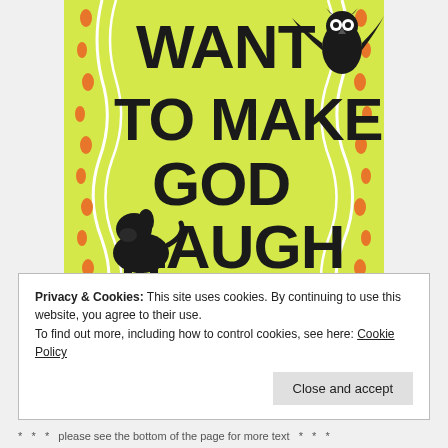[Figure (illustration): Book cover of 'Want to Make God Laugh' by Bianca Marais. Yellow-green background with wavy white lines and orange dot patterns on the sides. Large bold black text reads 'WANT TO MAKE GOD LAUGH'. A black illustrated owl flies in the upper right corner. A black illustrated dog sits in the lower left area. Italic script text reads 'a novel' below the main title. Author name 'BIANCA MARAIS' in large bold black letters at the bottom.]
Privacy & Cookies: This site uses cookies. By continuing to use this website, you agree to their use.
To find out more, including how to control cookies, see here: Cookie Policy
Close and accept
* * * please see the bottom of the page for more text * * *